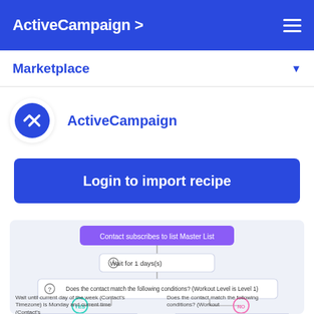ActiveCampaign >
Marketplace
ActiveCampaign
Login to import recipe
[Figure (flowchart): Automation flowchart showing: 'Contact subscribes to list Master List' trigger node (purple), connected to 'Wait for 1 days(s)' step, then 'Does the contact match the following conditions? (Workout Level is Level 1)' decision node, branching YES (teal) and NO (pink). YES branch leads to 'Wait until current day of the week (Contact's Timezone) is Monday and current time (Contact's...' and NO branch to 'Does the contact match the following conditions? (Workout...'.]